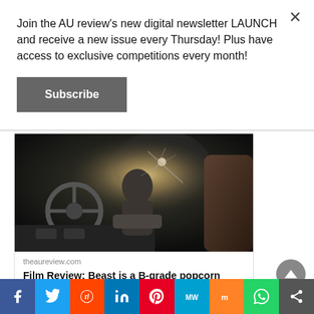Join the AU review's new digital newsletter LAUNCH and receive a new issue every Thursday! Plus have access to exclusive competitions every month!
Subscribe
[Figure (photo): A man sitting inside a vehicle with a cracked windshield, dramatic action scene lighting]
theaureview.com
Film Review: Beast is a B-grade popcorn thriller with a surprising injection of …
Facebook, Twitter, Reddit, LinkedIn, Pinterest, MW, Mix, WhatsApp, Share social buttons